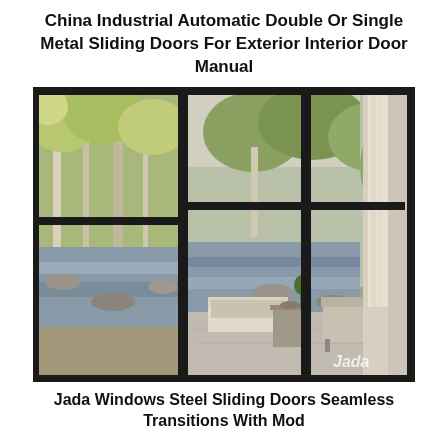China Industrial Automatic Double Or Single Metal Sliding Doors For Exterior Interior Door Manual
[Figure (photo): Large floor-to-ceiling black-framed steel sliding glass doors looking out onto a wooded landscape with a river or pond. Inside view shows an outdoor patio area with lounge furniture. Watermark 'Jada' visible in lower right corner.]
Jada Windows Steel Sliding Doors Seamless Transitions With Mod